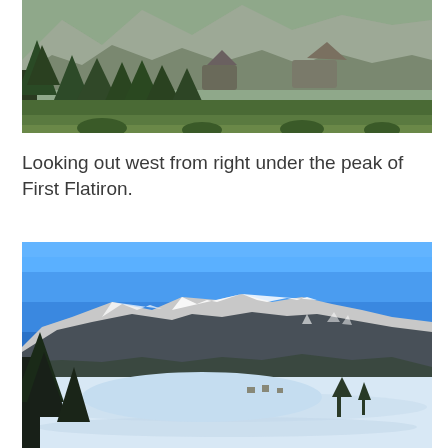[Figure (photo): Panoramic view looking west from near the peak of First Flatiron, showing dense evergreen forest in the foreground with rocky outcroppings and snow-capped mountains visible in the distance.]
Looking out west from right under the peak of First Flatiron.
[Figure (photo): Winter landscape viewed from a high vantage point showing a snow-covered valley floor with a frozen or snow-covered lake/field, evergreen trees on the left, and a large snow-capped mountain range in the background under a clear bright blue sky.]